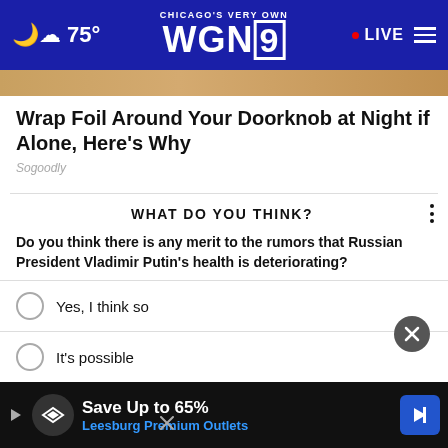Chicago's Very Own WGN9 • LIVE  75°
Wrap Foil Around Your Doorknob at Night if Alone, Here's Why
Sogoodly
WHAT DO YOU THINK?
Do you think there is any merit to the rumors that Russian President Vladimir Putin's health is deteriorating?
Yes, I think so
It's possible
No, I don't think so
[Figure (screenshot): Advertisement banner: Save Up to 65% Leesburg Premium Outlets with logo and arrow icon]